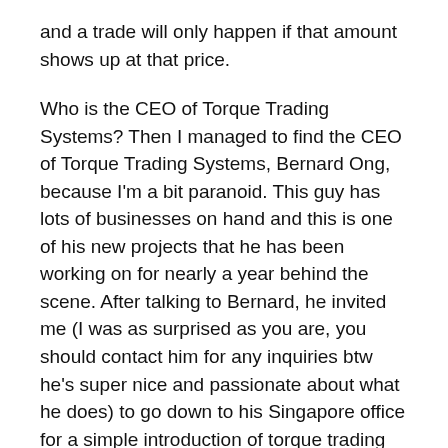and a trade will only happen if that amount shows up at that price.
Who is the CEO of Torque Trading Systems? Then I managed to find the CEO of Torque Trading Systems, Bernard Ong, because I'm a bit paranoid. This guy has lots of businesses on hand and this is one of his new projects that he has been working on for nearly a year behind the scene. After talking to Bernard, he invited me (I was as surprised as you are, you should contact him for any inquiries btw he's super nice and passionate about what he does) to go down to his Singapore office for a simple introduction of torque trading systems. So, I flew down to meet him and his team of managers in Singapore. Find even more details at Torque trading systems.
But what makes Torque trading system so special are